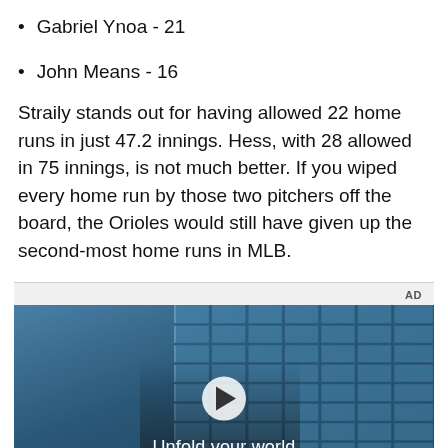Gabriel Ynoa - 21
John Means - 16
Straily stands out for having allowed 22 home runs in just 47.2 innings. Hess, with 28 allowed in 75 innings, is not much better. If you wiped every home run by those two pitchers off the board, the Orioles would still have given up the second-most home runs in MLB.
[Figure (other): Advertisement video player showing a young man standing in front of a blue glass-block wall, with text 'Unfold your world' and a play button overlay. AD label in top right corner.]